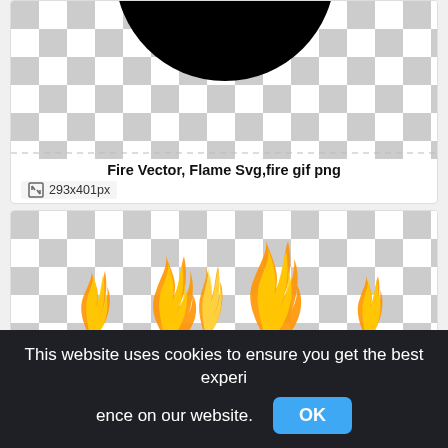[Figure (screenshot): Image thumbnail with checkerboard transparency background showing bottom half of a large black circle. Below the checker area: title 'Fire Vector, Flame Svg,fire gif png' and size '293x401px'.]
Fire Vector, Flame Svg,fire gif png
293x401px
[Figure (screenshot): Image thumbnail with checkerboard transparency background showing flames (orange/yellow fire) along the bottom edge.]
This website uses cookies to ensure you get the best experi ence on our website.
OK